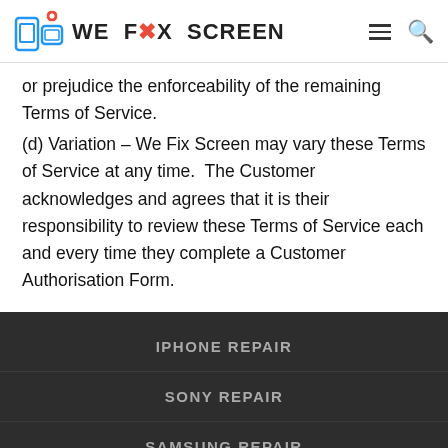WE FIX SCREEN
or prejudice the enforceability of the remaining Terms of Service.
(d) Variation – We Fix Screen may vary these Terms of Service at any time.  The Customer acknowledges and agrees that it is their responsibility to review these Terms of Service each and every time they complete a Customer Authorisation Form.
IPHONE REPAIR
SONY REPAIR
SAMSUNG REPAIR